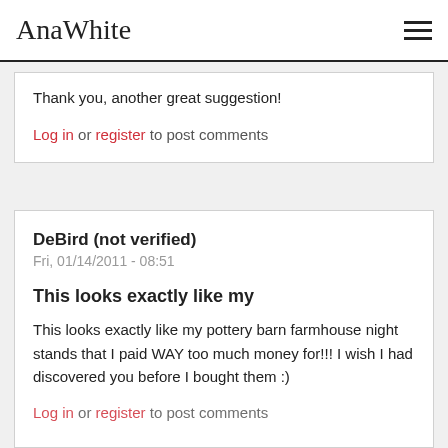AnaWhite
Thank you, another great suggestion!
Log in or register to post comments
DeBird (not verified)
Fri, 01/14/2011 - 08:51
This looks exactly like my
This looks exactly like my pottery barn farmhouse night stands that I paid WAY too much money for!!! I wish I had discovered you before I bought them :)
Log in or register to post comments